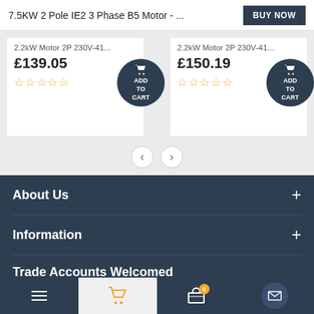7.5KW 2 Pole IE2 3 Phase B5 Motor - ...
BUY NOW
2.2kW Motor 2P 230V-41...
£139.05
ADD TO CART
2.2kW Motor 2P 230V-41...
£150.19
ADD TO CART
About Us
Information
Trade Accounts Welcomed